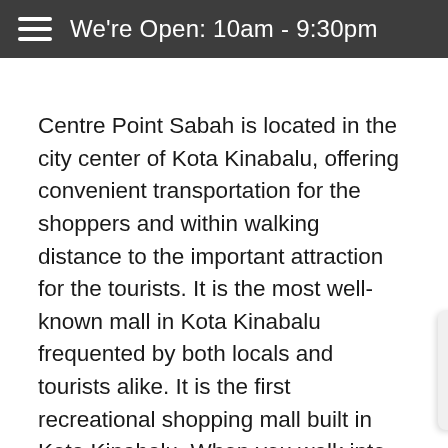We're Open: 10am - 9:30pm
Centre Point Sabah is located in the city center of Kota Kinabalu, offering convenient transportation for the shoppers and within walking distance to the important attraction for the tourists. It is the most well-known mall in Kota Kinabalu frequented by both locals and tourists alike. It is the first recreational shopping mall built in Kota Kinabalu. When you walk into the mall, you can feel it is not only a place where you can buy everything you need but also a place where you can spend your time with your families after a busy day. The soon-to-be complete SkyBridge will